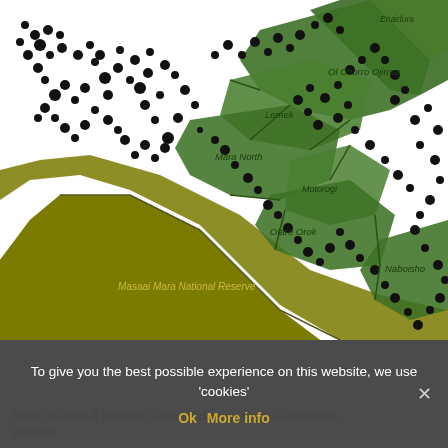[Figure (map): Map of the Maasai Mara ecosystem showing conservancy regions including Maasai Mara National Reserve (olive/dark yellow), and surrounding conservancies in green: Ol Chorro Ojirrua, Lemek, Mara North, Motorogi, Olare Orok, Naboisho. Black dots scattered across the map indicate wildlife or vegetation points. White areas represent other land. Region boundaries shown with thin lines and labels.]
To give you the best possible experience on this website, we use 'cookies'
Ok  More info
How to Plan A Private Game Drive Helps Conserve Wildlife